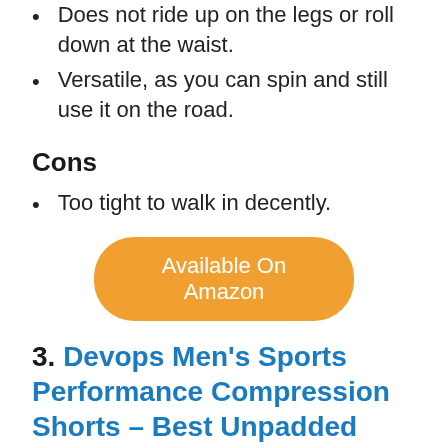Does not ride up on the legs or roll down at the waist.
Versatile, as you can spin and still use it on the road.
Cons
Too tight to walk in decently.
Available On Amazon
3. Devops Men's Sports Performance Compression Shorts – Best Unpadded